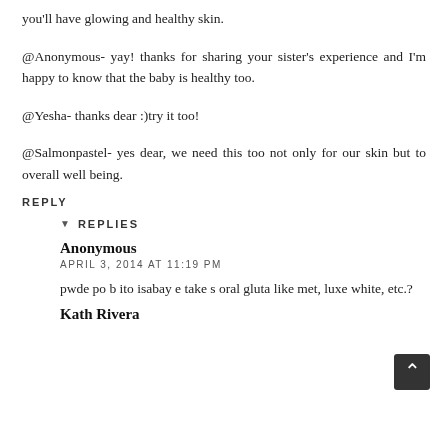you'll have glowing and healthy skin.
@Anonymous- yay! thanks for sharing your sister's experience and I'm happy to know that the baby is healthy too.
@Yesha- thanks dear :)try it too!
@Salmonpastel- yes dear, we need this too not only for our skin but to overall well being.
REPLY
REPLIES
Anonymous
APRIL 3, 2014 AT 11:19 PM
pwde po b ito isabay e take s oral gluta like met, luxe white, etc.?
Kath Rivera